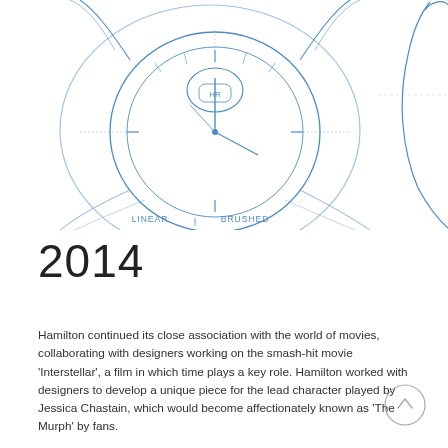[Figure (illustration): Blue ink technical sketch drawings of watch designs showing two watch views — a front/top view labeled 'LINEAR BRUSHED' on the left, and a side/crown view on the right. Drawn in blue on white background.]
2014
Hamilton continued its close association with the world of movies, collaborating with designers working on the smash-hit movie 'Interstellar', a film in which time plays a key role. Hamilton worked with designers to develop a unique piece for the lead character played by Jessica Chastain, which would become affectionately known as 'The Murph' by fans.
[Figure (other): Circular scroll-to-top button with an upward arrow icon, grey outline circle.]